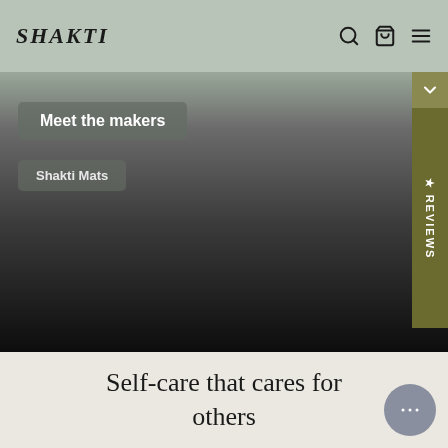SHAKTI
[Figure (screenshot): Hero section with gradient background from sage green to dark black, containing 'Meet the makers' button and 'Shakti Mats' button, with a Reviews tab on the right side and a chevron down indicator]
Self-care that cares for others